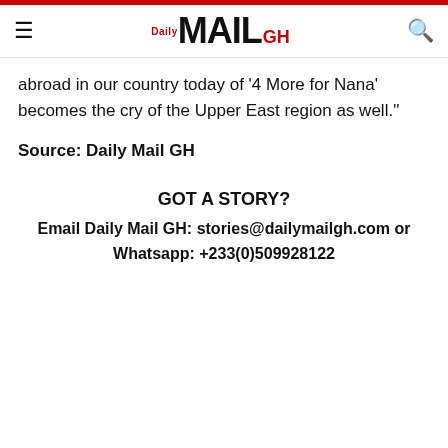Daily Mail GH
abroad in our country today of '4 More for Nana' becomes the cry of the Upper East region as well."
Source: Daily Mail GH
GOT A STORY?
Email Daily Mail GH: stories@dailymailgh.com or Whatsapp: +233(0)509928122